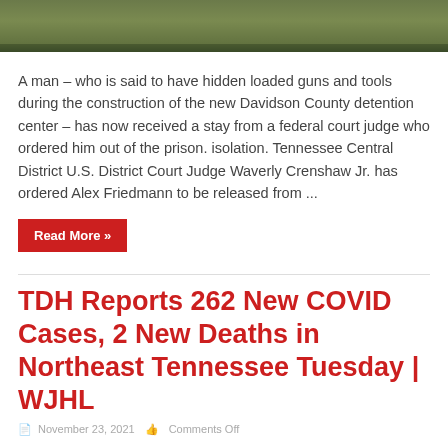[Figure (photo): Outdoor scene with grass and field, partial crop at top of page]
A man – who is said to have hidden loaded guns and tools during the construction of the new Davidson County detention center – has now received a stay from a federal court judge who ordered him out of the prison. isolation. Tennessee Central District U.S. District Court Judge Waverly Crenshaw Jr. has ordered Alex Friedmann to be released from ...
Read More »
TDH Reports 262 New COVID Cases, 2 New Deaths in Northeast Tennessee Tuesday | WJHL
November 23, 2021   Comments Off